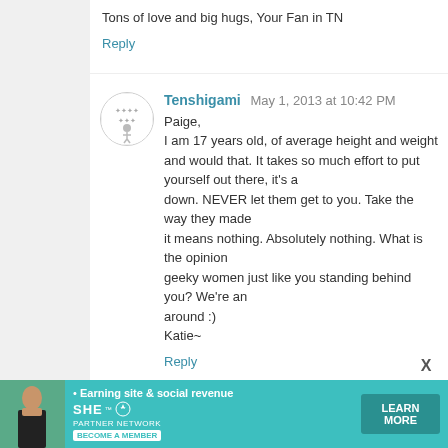Tons of love and big hugs, Your Fan in TN
Reply
Tenshigami May 1, 2013 at 10:42 PM
Paige,
I am 17 years old, of average height and weight and would that. It takes so much effort to put yourself out there, it's a down. NEVER let them get to you. Take the way they made it means nothing. Absolutely nothing. What is the opinion geeky women just like you standing behind you? We're an around :)
Katie~
Reply
Aileen May 1, 2013 at 10:44 PM
Tired tonight, can't read all the comments, but love all of yo
Eff the haters, and watch this video: http://www.youtube.c http://wilwheaton.net/2013/04/being-a-nerd-is-not-about-wh
Reply
[Figure (infographic): SHE Partner Network advertisement banner: Earning site & social revenue, Learn More button]